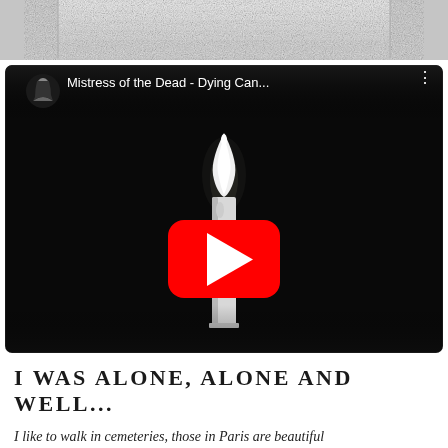[Figure (photo): Top cropped grayscale image showing a textured light-colored surface, partially visible at top of page]
[Figure (screenshot): YouTube video embed showing a black and white candle flame on dark background, with channel icon and title 'Mistress of the Dead - Dying Can...' in top bar and red YouTube play button overlay]
I WAS ALONE, ALONE AND WELL...
I like to walk in cemeteries, those in Paris are beautiful